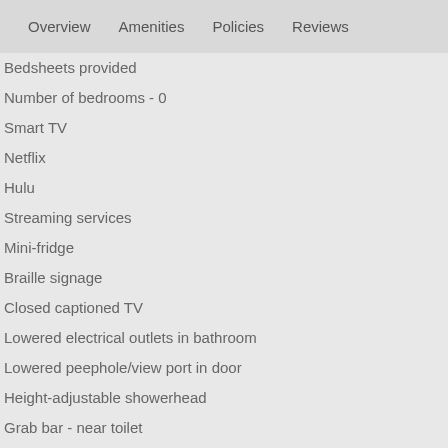Overview   Amenities   Policies   Reviews
Bedsheets provided
Number of bedrooms - 0
Smart TV
Netflix
Hulu
Streaming services
Mini-fridge
Braille signage
Closed captioned TV
Lowered electrical outlets in bathroom
Lowered peephole/view port in door
Height-adjustable showerhead
Grab bar - near toilet
Transfer shower
Lever door handles
Parking